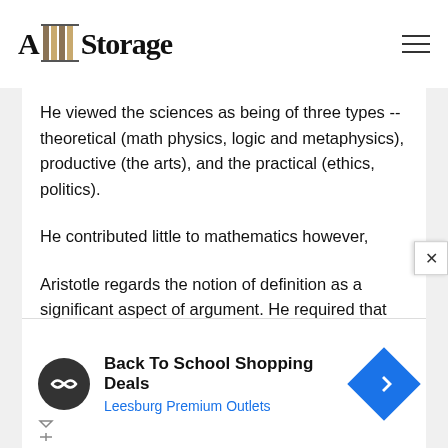A Storage
He viewed the sciences as being of three types -- theoretical (math physics, logic and metaphysics), productive (the arts), and the practical (ethics, politics).
He contributed little to mathematics however,
Aristotle regards the notion of definition as a significant aspect of argument. He required that definitions reference to prior objects. The definition, 'A point is that
[Figure (other): Advertisement banner for Back To School Shopping Deals at Leesburg Premium Outlets with circular logo icon and diamond navigation icon]